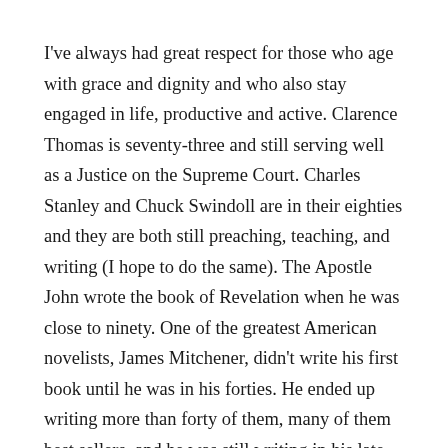I've always had great respect for those who age with grace and dignity and who also stay engaged in life, productive and active. Clarence Thomas is seventy-three and still serving well as a Justice on the Supreme Court. Charles Stanley and Chuck Swindoll are in their eighties and they are both still preaching, teaching, and writing (I hope to do the same). The Apostle John wrote the book of Revelation when he was close to ninety. One of the greatest American novelists, James Mitchener, didn't write his first book until he was in his forties. He ended up writing more than forty of them, many of them best sellers, and he was still writing in his late eighties.
I've never met Richard Morgan, but I came to know him through his writings. As a result, his insights and his personal example have served as an inspiration to me.